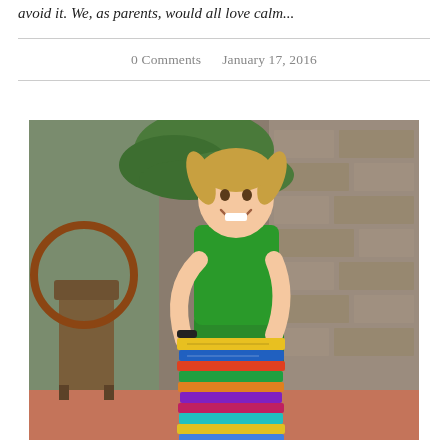avoid it. We, as parents, would all love calm...
0 Comments     January 17, 2016
[Figure (photo): A smiling young girl with braided hair wearing a green outfit, hugging a tall stack of colorful children's books. Background shows a palm plant and stone wall.]